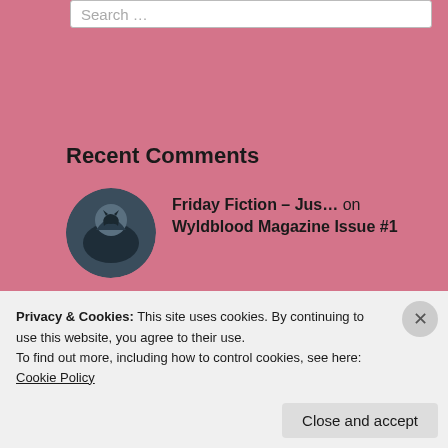Search ...
Recent Comments
Friday Fiction – Jus... on Wyldblood Magazine Issue #1
Accipiter G. Goshawk on Duckett & Dyer: The Myster...
fantastical | rfljen... on Fantasy Focus: Historical Fant...
wittysarcasticbookcl... on A Mirror Mended
Privacy & Cookies: This site uses cookies. By continuing to use this website, you agree to their use.
To find out more, including how to control cookies, see here: Cookie Policy
Close and accept